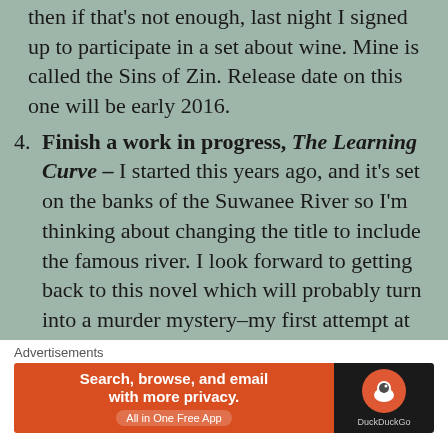then if that's not enough, last night I signed up to participate in a set about wine. Mine is called the Sins of Zin. Release date on this one will be early 2016.
4. Finish a work in progress, The Learning Curve – I started this years ago, and it's set on the banks of the Suwanee River so I'm thinking about changing the title to include the famous river. I look forward to getting back to this novel which will probably turn into a murder mystery–my first attempt at that genre.
5. Continue to grow as a writer – This
[Figure (infographic): DuckDuckGo advertisement banner: orange/red left panel with text 'Search, browse, and email with more privacy. All in One Free App' and dark right panel with DuckDuckGo logo and text 'DuckDuckGo']